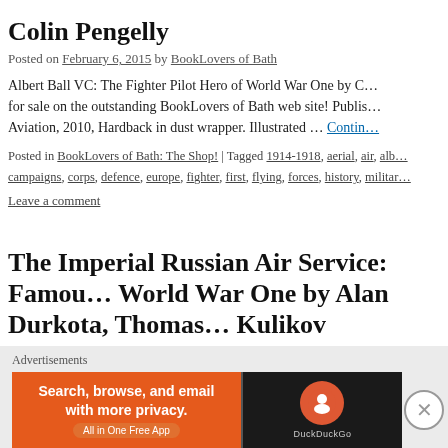Colin Pengelly
Posted on February 6, 2015 by BookLovers of Bath
Albert Ball VC: The Fighter Pilot Hero of World War One by C… for sale on the outstanding BookLovers of Bath web site! Publis… Aviation, 2010, Hardback in dust wrapper. Illustrated … Continue
Posted in BookLovers of Bath: The Shop! | Tagged 1914-1918, aerial, air, alb… campaigns, corps, defence, europe, fighter, first, flying, forces, history, militar…
Leave a comment
The Imperial Russian Air Service: Famous Pilots of World War One by Alan Durkota, Thomas… Kulikov
Posted on January 26, 2015 by BookLovers of Bath
[Figure (other): DuckDuckGo advertisement banner: 'Search, browse, and email with more privacy. All in One Free App' with DuckDuckGo logo]